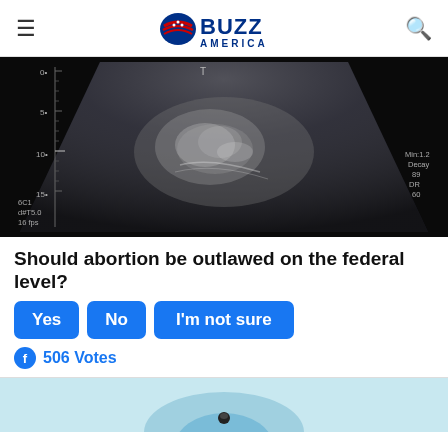BUZZ AMERICA
[Figure (photo): Ultrasound image showing a fetus in black and white, with measurement markers on the side including 0, 5, 10, 15 marks and text showing 6C1, d#T5.0, 16 fps, Min:1.2, Decay, DR, 60]
Should abortion be outlawed on the federal level?
Yes   No   I'm not sure
506 Votes
[Figure (photo): Partial view of another image at bottom of page, appears blue/teal colored]